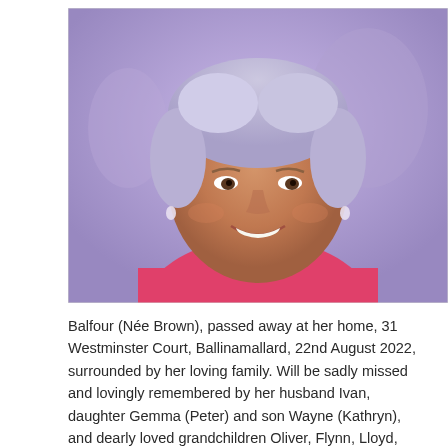[Figure (photo): Portrait photo of a smiling older woman with short grey-lavender hair wearing a pink top, photographed in a social setting with purple-tinted background lighting.]
Balfour (Née Brown), passed away at her home, 31 Westminster Court, Ballinamallard, 22nd August 2022, surrounded by her loving family. Will be sadly missed and lovingly remembered by her husband Ivan, daughter Gemma (Peter) and son Wayne (Kathryn), and dearly loved grandchildren Oliver, Flynn, Lloyd, Johnston and Renee. Also her sisters Ivy (George), Joan (Sam), brother in law Tom and the late Lillian and Gordie.